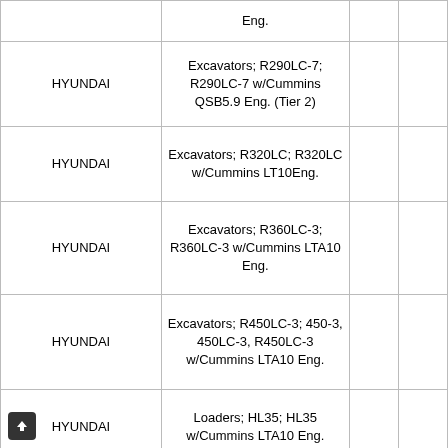|  | Eng. |  |  |
| HYUNDAI | Excavators; R290LC-7; R290LC-7 w/Cummins QSB5.9 Eng. (Tier 2) |  |  |
| HYUNDAI | Excavators; R320LC; R320LC w/Cummins LT10Eng. |  |  |
| HYUNDAI | Excavators; R360LC-3; R360LC-3 w/Cummins LTA10 Eng. |  |  |
| HYUNDAI | Excavators; R450LC-3; 450-3, 450LC-3, R450LC-3 w/Cummins LTA10 Eng. |  |  |
| HYUNDAI | Loaders; HL35; HL35 w/Cummins LTA10 Eng. |  |  |
| HYUNDAI | Loaders; HL730-7A; HL730-7A, HL730TM-7A w/Cummins QSB4.5 Eng. |  |  |